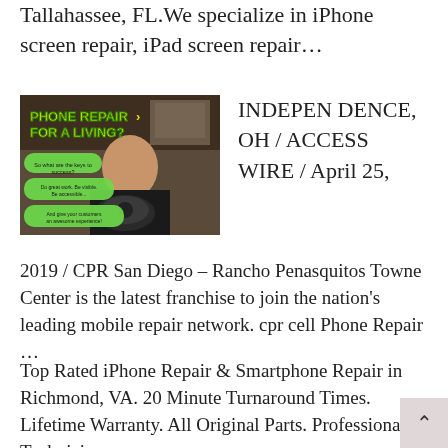Tallahassee, FL.We specialize in iPhone screen repair, iPad screen repair...
[Figure (photo): Thumbnail image with text overlay 'PHONE REPAIR FOR A LIVING?' showing a man in a black t-shirt behind a desk with a vintage rotary phone and text message chat bubbles overlay]
INDEPENDENCE, OH / ACCESSWIRE / April 25, 2019 / CPR San Diego – Rancho Penasquitos Towne Center is the latest franchise to join the nation's leading mobile repair network. cpr cell Phone Repair ...
Top Rated iPhone Repair & Smartphone Repair in Richmond, VA. 20 Minute Turnaround Times. Lifetime Warranty. All Original Parts. Professional Technicians.